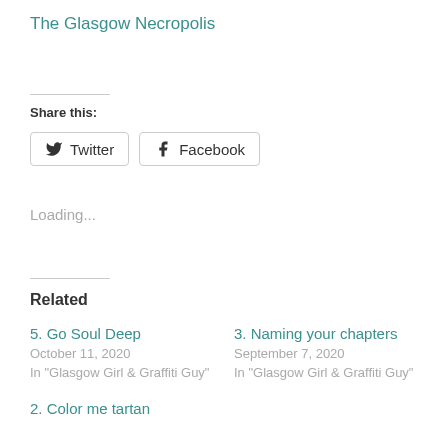The Glasgow Necropolis
Share this:
Twitter  Facebook
Loading...
Related
5. Go Soul Deep
October 11, 2020
In "Glasgow Girl & Graffiti Guy"
3. Naming your chapters
September 7, 2020
In "Glasgow Girl & Graffiti Guy"
2. Color me tartan